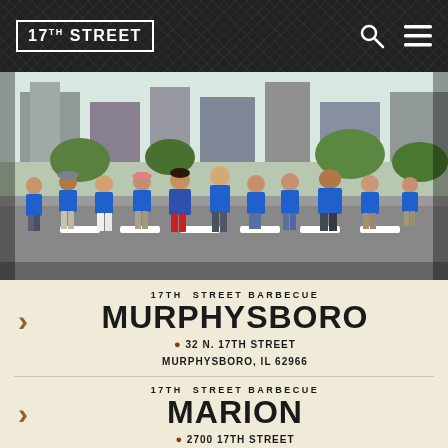17TH STREET
[Figure (photo): Group photo of approximately 11 people standing in the street wearing blue t-shirts, some with text about pork. They are posing on a city street. One person in center wears a blue denim shirt and another wears red cowboy boots.]
17TH STREET BARBECUE
MURPHYSBORO
32 N. 17TH STREET
MURPHYSBORO, IL 62966
17TH STREET BARBECUE
MARION
2700 17TH STREET